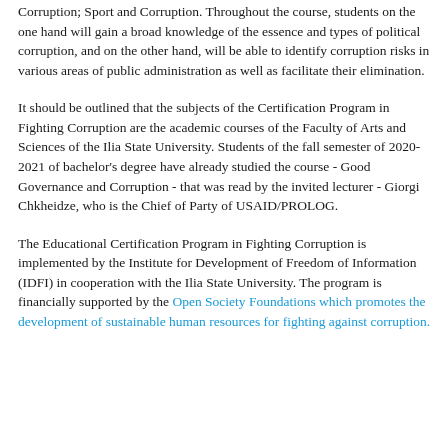Corruption; Sport and Corruption. Throughout the course, students on the one hand will gain a broad knowledge of the essence and types of political corruption, and on the other hand, will be able to identify corruption risks in various areas of public administration as well as facilitate their elimination.
It should be outlined that the subjects of the Certification Program in Fighting Corruption are the academic courses of the Faculty of Arts and Sciences of the Ilia State University. Students of the fall semester of 2020-2021 of bachelor's degree have already studied the course - Good Governance and Corruption - that was read by the invited lecturer - Giorgi Chkheidze, who is the Chief of Party of USAID/PROLOG.
The Educational Certification Program in Fighting Corruption is implemented by the Institute for Development of Freedom of Information (IDFI) in cooperation with the Ilia State University. The program is financially supported by the Open Society Foundations which promotes the development of sustainable human resources for fighting against corruption.